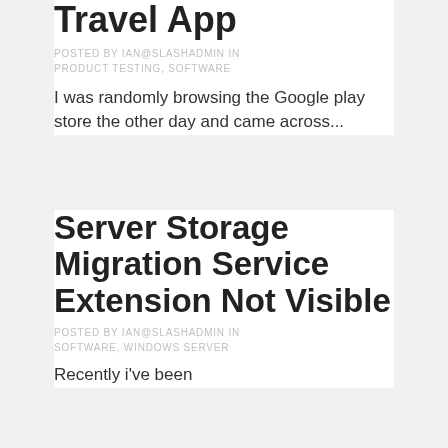Travel App
POSTED BY IAN@SLASHADMIN IN PRODUCT TESTING, SOFTWARE
I was randomly browsing the Google play store the other day and came across...
Server Storage Migration Service Extension Not Visible
POSTED BY IAN@SLASHADMIN IN SOFTWARE, WINDOWS SERVER
Recently i've been